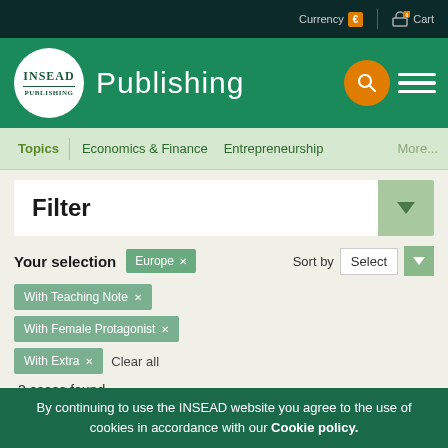Currency € | 0 Cart
INSEAD Publishing
Topics | Economics & Finance  Entrepreneurship  More...
Filter
Your selection  Europe x
Sort by  Select
With Teaching Note x
With Female Protagonist x
With Extra x   Clear all
3 cases found.
By continuing to use the INSEAD website you agree to the use of cookies in accordance with our Cookie policy.